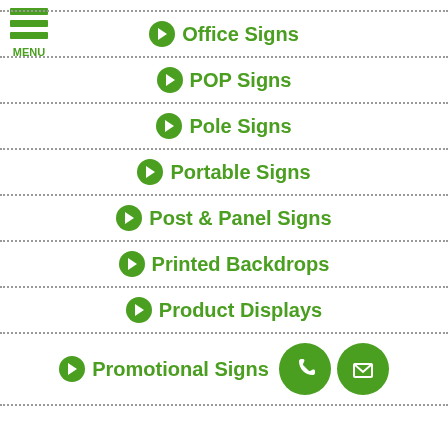[Figure (logo): Green hamburger menu icon with three horizontal bars and MENU text]
Office Signs
POP Signs
Pole Signs
Portable Signs
Post & Panel Signs
Printed Backdrops
Product Displays
Promotional Signs